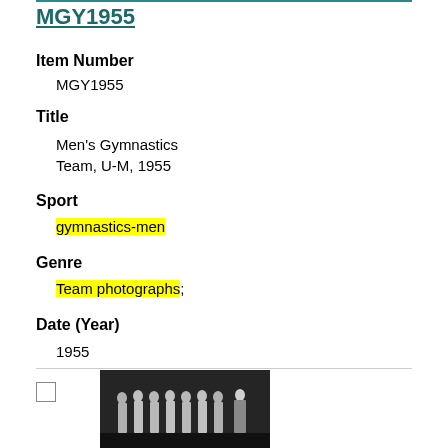MGY1955
Item Number
MGY1955
Title
Men's Gymnastics Team, U-M, 1955
Sport
gymnastics-men
Genre
Team photographs;
Date (Year)
1955
[Figure (photo): Black and white team photograph of men's gymnastics team, U-M, 1955, showing a group of athletes standing in a row]